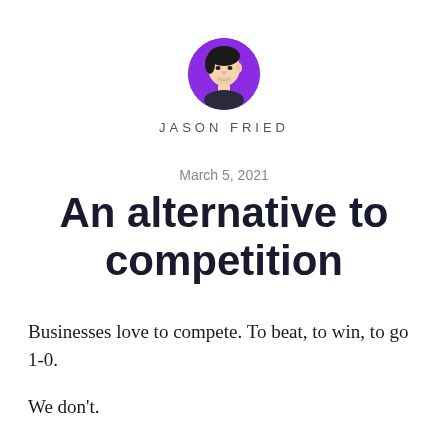[Figure (illustration): Circular avatar of Jason Fried with a purple background, showing a black-and-white illustrated portrait of a man.]
JASON FRIED
March 5, 2021
An alternative to competition
Businesses love to compete. To beat, to win, to go 1-0.
We don't.